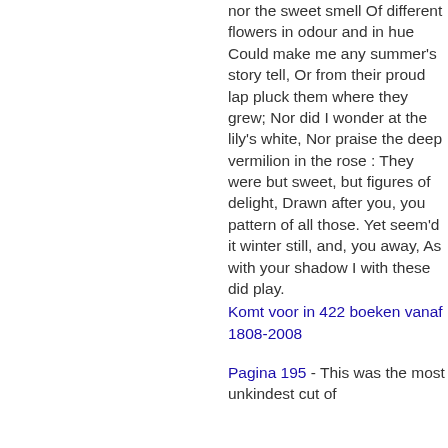nor the sweet smell Of different flowers in odour and in hue Could make me any summer's story tell, Or from their proud lap pluck them where they grew; Nor did I wonder at the lily's white, Nor praise the deep vermilion in the rose : They were but sweet, but figures of delight, Drawn after you, you pattern of all those. Yet seem'd it winter still, and, you away, As with your shadow I with these did play.
Komt voor in 422 boeken vanaf 1808-2008
Pagina 195 - This was the most unkindest cut of